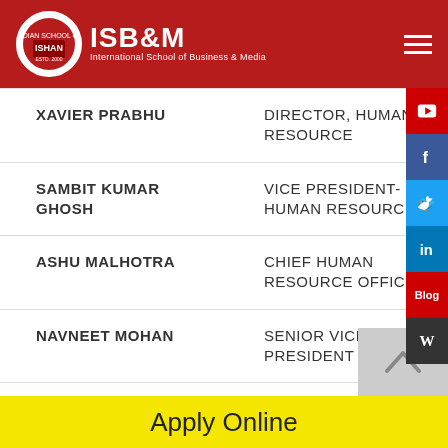ISB&M International School of Business & Media
| Name | Designation | Company |
| --- | --- | --- |
| XAVIER PRABHU | DIRECTOR, HUMAN RESOURCE | PR... |
| SAMBIT KUMAR GHOSH | VICE PRESIDENT- HUMAN RESOURCE | DES... SEC... |
| ASHU MALHOTRA | CHIEF HUMAN RESOURCE OFFICER | TUL... |
| NAVNEET MOHAN | SENIOR VICE PRESIDENT | NETW... |
| SARTHAK | HR HEAD | MADU... |
Apply Online